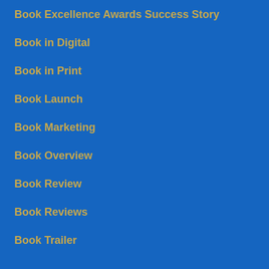Book Excellence Awards Success Story
Book in Digital
Book in Print
Book Launch
Book Marketing
Book Overview
Book Review
Book Reviews
Book Trailer